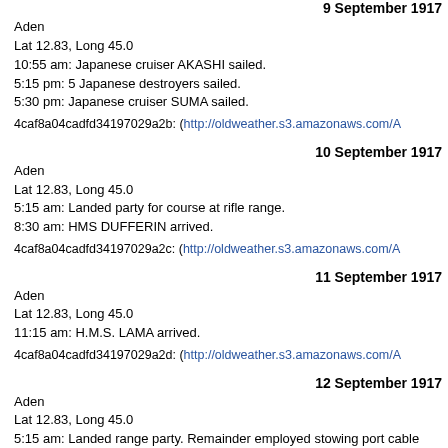9 September 1917
Aden
Lat 12.83, Long 45.0
10:55 am: Japanese cruiser AKASHI sailed.
5:15 pm: 5 Japanese destroyers sailed.
5:30 pm: Japanese cruiser SUMA sailed.
4caf8a04cadfd34197029a2b: (http://oldweather.s3.amazonaws.com/A
10 September 1917
Aden
Lat 12.83, Long 45.0
5:15 am: Landed party for course at rifle range.
8:30 am: HMS DUFFERIN arrived.
4caf8a04cadfd34197029a2c: (http://oldweather.s3.amazonaws.com/A
11 September 1917
Aden
Lat 12.83, Long 45.0
11:15 am: H.M.S. LAMA arrived.
4caf8a04cadfd34197029a2d: (http://oldweather.s3.amazonaws.com/A
12 September 1917
Aden
Lat 12.83, Long 45.0
5:15 am: Landed range party. Remainder employed stowing port cable
4caf8a04cadfd34197029a2e: (http://oldweather.s3.amazonaws.com/A